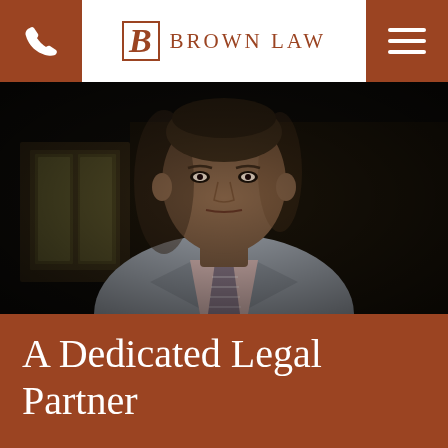BROWN LAW
[Figure (photo): A professional headshot-style photograph of a middle-aged Black man wearing a light gray suit, pink dress shirt, and striped tie, against a dark background with blurred architectural elements.]
A Dedicated Legal Partner